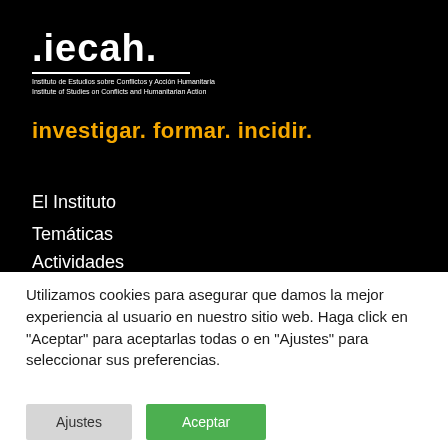[Figure (logo): .iecah. logo with subtitle 'Instituto de Estudios sobre Conflictos y Acción Humanitaria / Institute of Studies on Conflicts and Humanitarian Action']
investigar. formar. incidir.
El Instituto
Temáticas
Actividades
Utilizamos cookies para asegurar que damos la mejor experiencia al usuario en nuestro sitio web. Haga click en "Aceptar" para aceptarlas todas o en "Ajustes" para seleccionar sus preferencias.
Ajustes  Aceptar